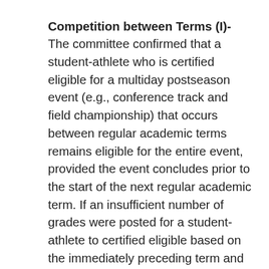Competition between Terms (I)- The committee confirmed that a student-athlete who is certified eligible for a multiday postseason event (e.g., conference track and field championship) that occurs between regular academic terms remains eligible for the entire event, provided the event concludes prior to the start of the next regular academic term. If an insufficient number of grades were posted for a student-athlete to certified eligible based on the immediately preceding term and he or she will participate in another postseason event (e.g., NCAA championship) that occurs during the same break between terms, the institution must recertify the student-athlete with grades available at 5 p.m. local time (where the institution is located) on the day prior to the start of the additional postseason event